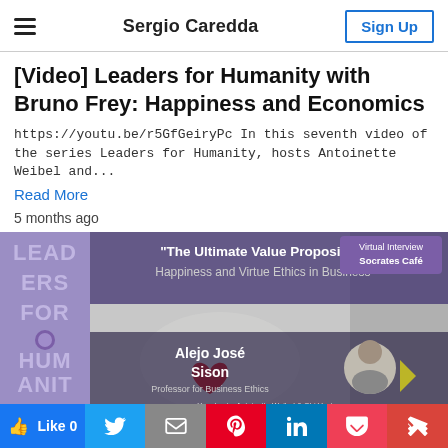Sergio Caredda
[Video] Leaders for Humanity with Bruno Frey: Happiness and Economics
https://youtu.be/r5GfGeiryPc In this seventh video of the series Leaders for Humanity, hosts Antoinette Weibel and...
Read More
5 months ago
[Figure (photo): Promotional image for 'The Ultimate Value Proposition: Happiness and Virtue Ethics in Business' featuring Alejo José Sison, Professor for Business Ethics. Shows hands holding a red heart, with Leaders for Humanity branding, Virtual Interview Socrates Café label, and hosts Antoinette Weibel & Obi Vogt.]